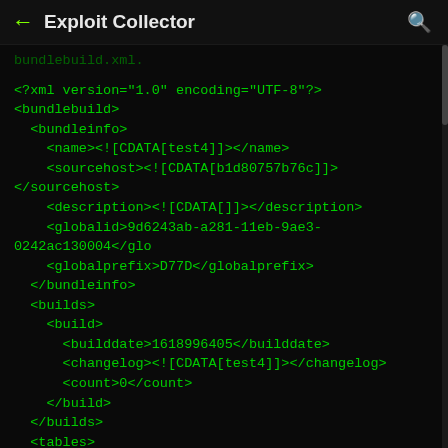← Exploit Collector 🔍
bundlebuild.xml:

<?xml version="1.0" encoding="UTF-8"?>
<bundlebuild>
  <bundleinfo>
    <name><![CDATA[test4]]></name>
    <sourcehost><![CDATA[b1d80757b76c]]></sourcehost>
    <description><![CDATA[]]></description>
    <globalid>9d6243ab-a281-11eb-9ae3-0242ac130004</glo
    <globalprefix>D77D</globalprefix>
  </bundleinfo>
  <builds>
    <build>
      <builddate>1618996405</builddate>
      <changelog><![CDATA[test4]]></changelog>
      <count>0</count>
    </build>
  </builds>
  <tables>
  </tables>
</bundlebuild>

containedobjects.xml:

<?xml version="1.0" encoding="UTF-8"?>
<objects>
</objects>